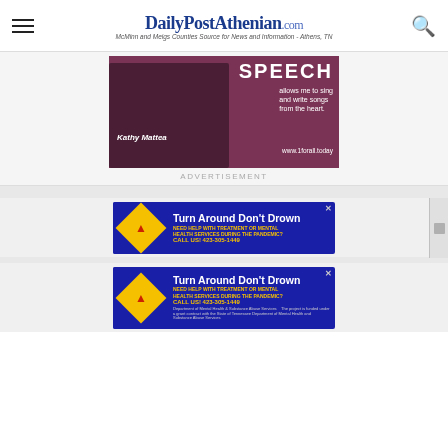DailyPostAthenian.com — McMinn and Meigs Counties Source for News and Information - Athens, TN
[Figure (photo): Advertisement featuring Kathy Mattea with text 'SPEECH allows me to sing and write songs from the heart. www.1forall.today']
ADVERTISEMENT
[Figure (photo): Turn Around Don't Drown advertisement — NEED HELP WITH TREATMENT OR MENTAL HEALTH SERVICES DURING THE PANDEMIC? CALL US! 423-305-1449]
[Figure (photo): Turn Around Don't Drown advertisement — NEED HELP WITH TREATMENT OR MENTAL HEALTH SERVICES DURING THE PANDEMIC? CALL US! 423-305-1449]